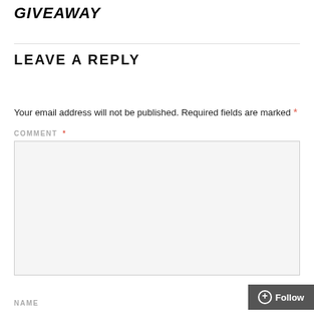GIVEAWAY
LEAVE A REPLY
Your email address will not be published. Required fields are marked *
COMMENT *
NAME